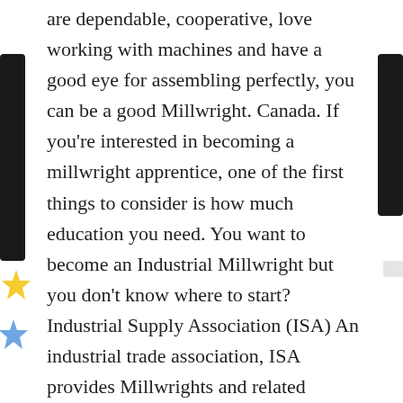are dependable, cooperative, love working with machines and have a good eye for assembling perfectly, you can be a good Millwright. Canada. If you're interested in becoming a millwright apprentice, one of the first things to consider is how much education you need. You want to become an Industrial Millwright but you don't know where to start? Industrial Supply Association (ISA) An industrial trade association, ISA provides Millwrights and related professions with various resources, such as webinars, educational courses, conventions, industry news and online articles and videos. have a good attitude and work ethic. A millwright is expected to be a jack of all trades in a large field of manual labor. This publication will teach you the basics of how to become a Millwright. Take the free CareerExplorer career test You don't want to waste your Those seeking to enter this field might also obtain a technical certificate in these subjects or in such areas